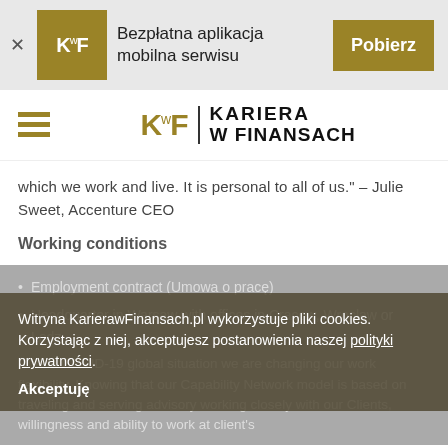[Figure (logo): KwF logo and Bezpłatna aplikacja mobilna serwisu banner with Pobierz button]
[Figure (logo): KwF Kariera w Finansach main navigation logo with hamburger menu]
which we work and live. It is personal to all of us." – Julie Sweet, Accenture CEO
Working conditions
Employment contract (Umowa o pracę)
Headquarter in Warsaw with offices in Cracow, Wroclaw or Lodz.
Due to COVID-19 global situation we are changing our work flexibility. Knowing that our Capability Network model is based on traveling and serving advisory working closely with our Clients, willingness and ability to work at client's
Witryna KarierawFinansach.pl wykorzystuje pliki cookies. Korzystając z niej, akceptujesz postanowienia naszej polityki prywatności.
Akceptuję